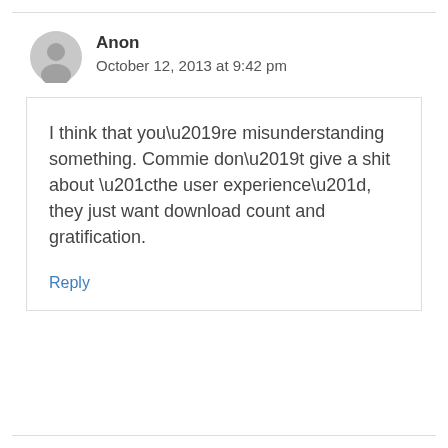Anon
October 12, 2013 at 9:42 pm
I think that you’re misunderstanding something. Commie don’t give a shit about “the user experience”, they just want download count and gratification.
Reply